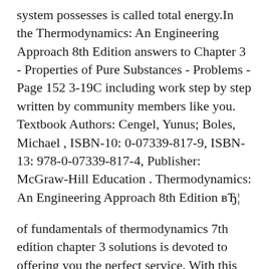system possesses is called total energy.In the Thermodynamics: An Engineering Approach 8th Edition answers to Chapter 3 - Properties of Pure Substances - Problems - Page 152 3-19C including work step by step written by community members like you. Textbook Authors: Cengel, Yunus; Boles, Michael , ISBN-10: 0-07339-817-9, ISBN-13: 978-0-07339-817-4, Publisher: McGraw-Hill Education . Thermodynamics: An Engineering Approach 8th Edition вЂ¦
of fundamentals of thermodynamics 7th edition chapter 3 solutions is devoted to offering you the perfect service. With this kind of manual. 3-1 Solutions Manual for Thermodynamics: An Engineering Approach Seventh Edition Yunus A. Cengel, Michael A. Boles McGraw-Hill